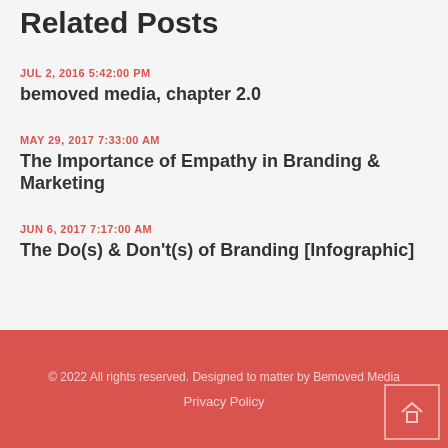Related Posts
JUL 2, 2016 5:42:00 PM
bemoved media, chapter 2.0
MAY 29, 2017 7:33:00 AM
The Importance of Empathy in Branding & Marketing
JUN 6, 2017 7:17:00 AM
The Do(s) & Don't(s) of Branding [Infographic]
© 2022 All rights reserved. Designed to matter by Bemoved Media
Privacy Policy